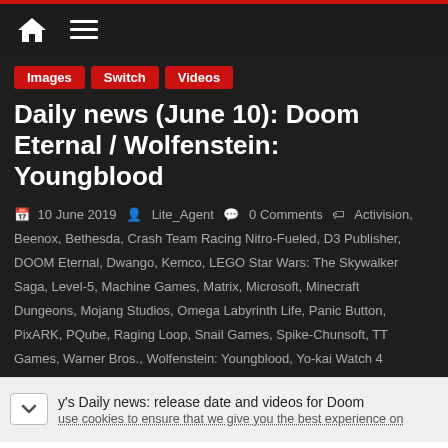Navigation bar with home and menu icons
Images
Switch
Videos
Daily news (June 10): Doom Eternal / Wolfenstein: Youngblood
10 June 2019  Lite_Agent  0 Comments  Activision, Beenox, Bethesda, Crash Team Racing Nitro-Fueled, D3 Publisher, DOOM Eternal, Dwango, Kemco, LEGO Star Wars: The Skywalker Saga, Level-5, Machine Games, Matrix, Microsoft, Minecraft Dungeons, Mojang Studios, Omega Labyrinth Life, Panic Button, PixARK, PQube, Raging Loop, Snail Games, Spike-Chunsoft, TT Games, Warner Bros., Wolfenstein: Youngblood, Yo-kai Watch 4
y's Daily news: release date and videos for Doom
use cookies to ensure that we give you the best experience on
[Figure (screenshot): Advertisement banner for Hair Cuttery: Book a Same Day Appointment with HC logo and navigation arrow icon]